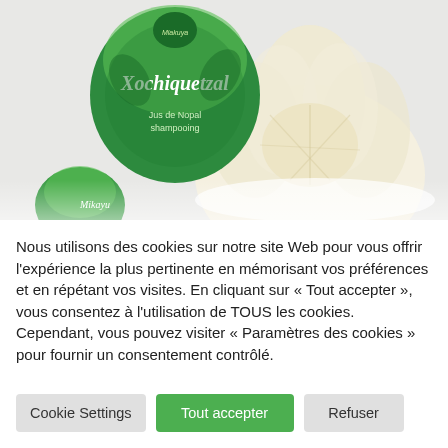[Figure (photo): Product photo showing a green round tin labeled 'Xochiquetzal Jus de Nopal shampooing' and a cream-colored solid shampoo bar shaped like a flower, with a smaller product partially visible at the bottom left.]
Nous utilisons des cookies sur notre site Web pour vous offrir l'expérience la plus pertinente en mémorisant vos préférences et en répétant vos visites. En cliquant sur « Tout accepter », vous consentez à l'utilisation de TOUS les cookies. Cependant, vous pouvez visiter « Paramètres des cookies » pour fournir un consentement contrôlé.